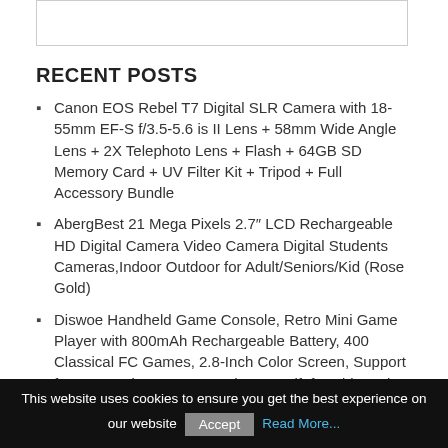[Figure (other): White image box with border at top]
RECENT POSTS
Canon EOS Rebel T7 Digital SLR Camera with 18-55mm EF-S f/3.5-5.6 is II Lens + 58mm Wide Angle Lens + 2X Telephoto Lens + Flash + 64GB SD Memory Card + UV Filter Kit + Tripod + Full Accessory Bundle
AbergBest 21 Mega Pixels 2.7″ LCD Rechargeable HD Digital Camera Video Camera Digital Students Cameras,Indoor Outdoor for Adult/Seniors/Kid (Rose Gold)
Diswoe Handheld Game Console, Retro Mini Game Player with 800mAh Rechargeable Battery, 400 Classical FC Games, 2.8-Inch Color Screen, Support for Connecting TV & Two Players, Gift for Kids and Adults
Rocket League Ultimate Edition – Nintendo Switch
Digital Camera Vlogging Camera with YouTube 24MP 2.7k Full
This website uses cookies to ensure you get the best experience on our website  Accept  Read More...